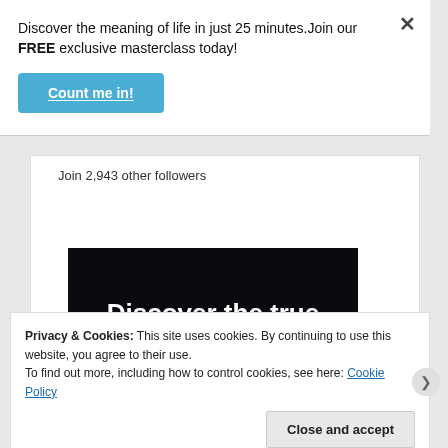Discover the meaning of life in just 25 minutes.Join our FREE exclusive masterclass today!
Count me in!
Join 2,943 other followers
[Figure (other): Dark banner with white bold text reading 'Discover the true']
Privacy & Cookies: This site uses cookies. By continuing to use this website, you agree to their use.
To find out more, including how to control cookies, see here: Cookie Policy
Close and accept